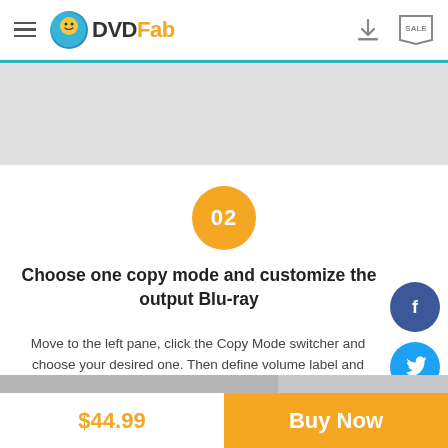DVDFab
[Figure (screenshot): Gray banner/advertisement placeholder area]
02
Choose one copy mode and customize the output Blu-ray
Move to the left pane, click the Copy Mode switcher and choose your desired one. Then define volume label and output size. BD-25, BD-9 or BD-5 will be up to you.
$44.99
Buy Now